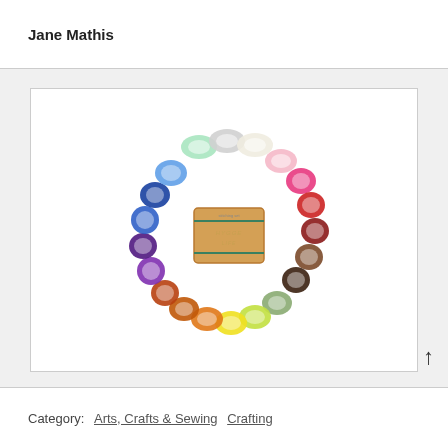Jane Mathis
[Figure (photo): A circular arrangement of colorful yarn skeins in various colors (blue, purple, green, yellow, orange, red, pink, gray, brown, black, white, etc.) surrounding a cardboard box labeled 'HYGGE LIFE' in the center.]
Category:  Arts, Crafts & Sewing   Crafting